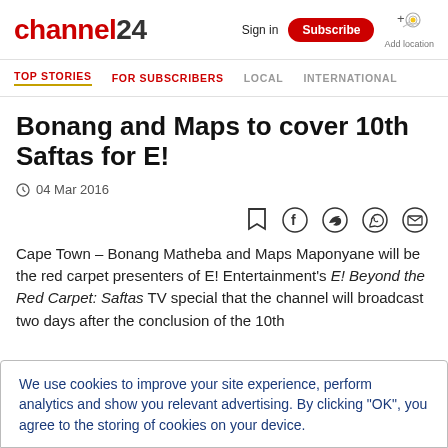channel24 | Sign in | Subscribe | Add location
TOP STORIES | FOR SUBSCRIBERS | LOCAL | INTERNATIONAL
Bonang and Maps to cover 10th Saftas for E!
04 Mar 2016
[Figure (infographic): Social sharing icons: bookmark, Facebook, Twitter, WhatsApp, email]
Cape Town – Bonang Matheba and Maps Maponyane will be the red carpet presenters of E! Entertainment's E! Beyond the Red Carpet: Saftas TV special that the channel will broadcast two days after the conclusion of the 10th
We use cookies to improve your site experience, perform analytics and show you relevant advertising. By clicking "OK", you agree to the storing of cookies on your device.